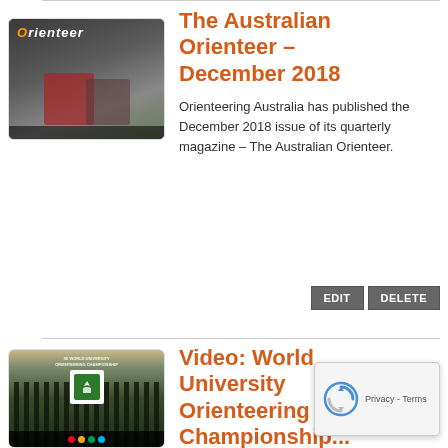[Figure (photo): Thumbnail of The Australian Orienteer magazine cover, showing orienteering athletes, dark background with orange title text 'Orienteer']
The Australian Orienteer – December 2018
Orienteering Australia has published the December 2018 issue of its quarterly magazine – The Australian Orienteer.
[Figure (photo): Thumbnail for World University Orienteering Championships 2018 video, showing a misty forest with a WUOC logo]
Video: World University Orienteering Championships 2018 – Finland...